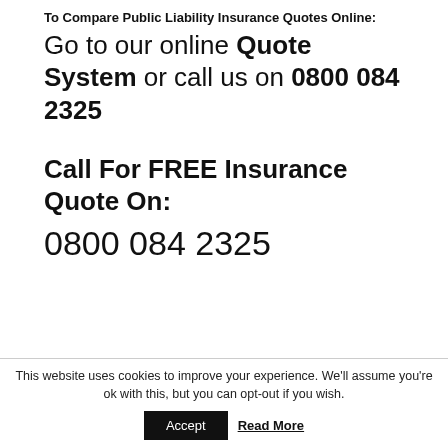To Compare Public Liability Insurance Quotes Online:
Go to our online Quote System or call us on 0800 084 2325
Call For FREE Insurance Quote On:
0800 084 2325
This website uses cookies to improve your experience. We'll assume you're ok with this, but you can opt-out if you wish.
Accept   Read More